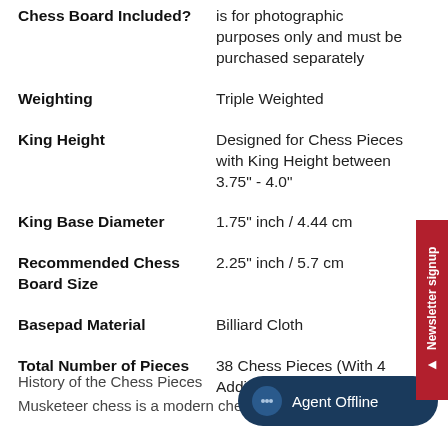| Attribute | Value |
| --- | --- |
| Chess Board Included? | is for photographic purposes only and must be purchased separately |
| Weighting | Triple Weighted |
| King Height | Designed for Chess Pieces with King Height between 3.75" - 4.0" |
| King Base Diameter | 1.75" inch / 4.44 cm |
| Recommended Chess Board Size | 2.25" inch / 5.7 cm |
| Basepad Material | Billiard Cloth |
| Total Number of Pieces | 38 Chess Pieces (With 4 Additional Variant Pieces) |
History of the Chess Pieces
Musketeer chess is a modern chess variant invented